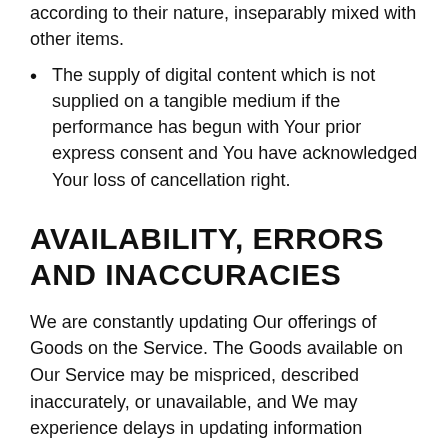according to their nature, inseparably mixed with other items.
The supply of digital content which is not supplied on a tangible medium if the performance has begun with Your prior express consent and You have acknowledged Your loss of cancellation right.
AVAILABILITY, ERRORS AND INACCURACIES
We are constantly updating Our offerings of Goods on the Service. The Goods available on Our Service may be mispriced, described inaccurately, or unavailable, and We may experience delays in updating information regarding our Goods on the Service and in Our advertising on other websites.
We cannot and do not guarantee the accuracy or